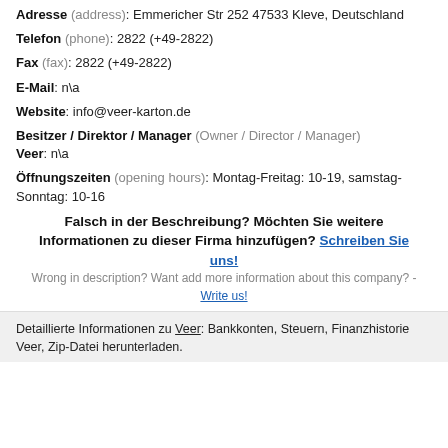Adresse (address): Emmericher Str 252 47533 Kleve, Deutschland
Telefon (phone): 2822 (+49-2822)
Fax (fax): 2822 (+49-2822)
E-Mail: n\a
Website: info@veer-karton.de
Besitzer / Direktor / Manager (Owner / Director / Manager) Veer: n\a
Öffnungszeiten (opening hours): Montag-Freitag: 10-19, samstag-Sonntag: 10-16
Falsch in der Beschreibung? Möchten Sie weitere Informationen zu dieser Firma hinzufügen? Schreiben Sie uns! Wrong in description? Want add more information about this company? - Write us!
Detaillierte Informationen zu Veer: Bankkonten, Steuern, Finanzhistorie Veer, Zip-Datei herunterladen.